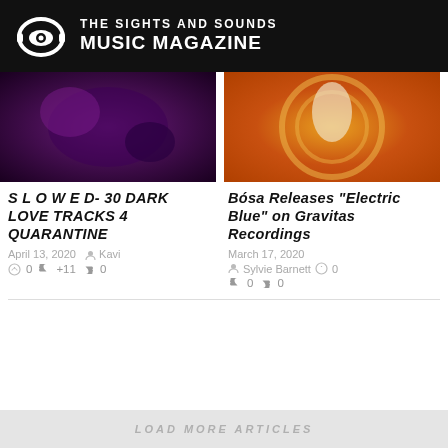The Sights and Sounds Music Magazine
[Figure (photo): Purple/dark thumbnail image for SLOWED article]
S L O W E D- 30 DARK LOVE TRACKS 4 QUARANTINE
April 13, 2020  Kavi  0  +11  0
[Figure (photo): Orange/warm thumbnail image for Bósa article]
Bósa Releases "Electric Blue" on Gravitas Recordings
March 17, 2020  Sylvie Barnett  0  0  0
LOAD MORE ARTICLES